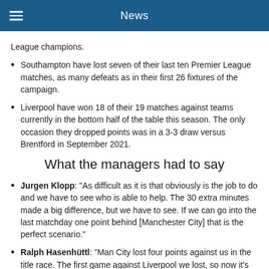News
League champions.
Southampton have lost seven of their last ten Premier League matches, as many defeats as in their first 26 fixtures of the campaign.
Liverpool have won 18 of their 19 matches against teams currently in the bottom half of the table this season. The only occasion they dropped points was in a 3-3 draw versus Brentford in September 2021.
What the managers had to say
Jurgen Klopp: "As difficult as it is that obviously is the job to do and we have to see who is able to help. The 30 extra minutes made a big difference, but we have to see. If we can go into the last matchday one point behind [Manchester City] that is the perfect scenario."
Ralph Hasenhüttl: "Man City lost four points against us in the title race. The first game against Liverpool we lost, so now it's..."